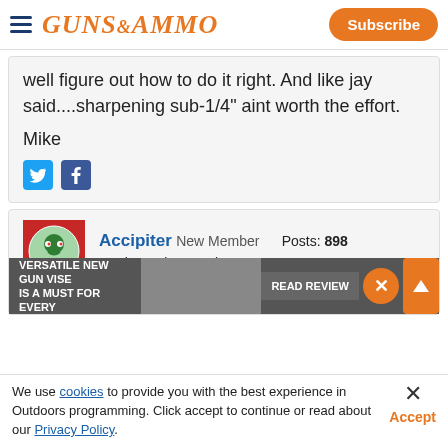Guns & Ammo | Subscribe
well figure out how to do it right. And like jay said....sharpening sub-1/4" aint worth the effort.
Mike
Accipiter New Member Posts: 898 Rank: Senior Member
Feb
[Figure (screenshot): Advertisement overlay: Versatile New Gun Vise Is A Must For Every - Read Review]
We use cookies to provide you with the best experience in Outdoors programming. Click accept to continue or read about our Privacy Policy.